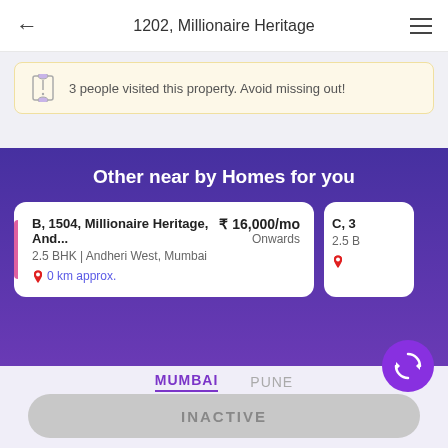1202, Millionaire Heritage
3 people visited this property. Avoid missing out!
Other near by Homes for you
B, 1504, Millionaire Heritage, And... | 2.5 BHK | Andheri West, Mumbai | 0 km approx. | ₹ 16,000/mo Onwards
C, 3... | 2.5 B...
MUMBAI   PUNE
INACTIVE